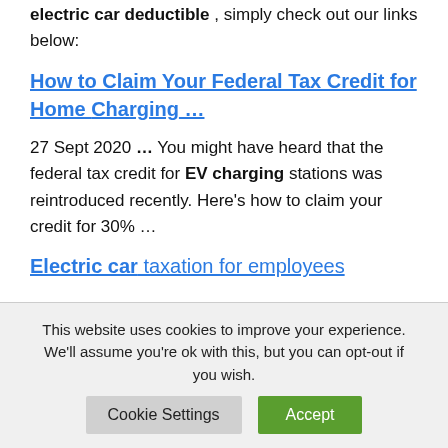electric car deductible , simply check out our links below:
How to Claim Your Federal Tax Credit for Home Charging …
27 Sept 2020 … You might have heard that the federal tax credit for EV charging stations was reintroduced recently. Here's how to claim your credit for 30% …
Electric car taxation for employees
This website uses cookies to improve your experience. We'll assume you're ok with this, but you can opt-out if you wish.